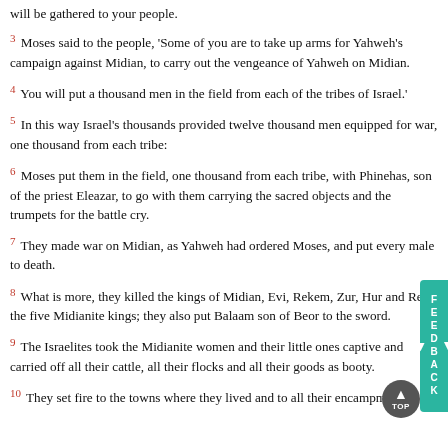will be gathered to your people.
3 Moses said to the people, 'Some of you are to take up arms for Yahweh's campaign against Midian, to carry out the vengeance of Yahweh on Midian.
4 You will put a thousand men in the field from each of the tribes of Israel.'
5 In this way Israel's thousands provided twelve thousand men equipped for war, one thousand from each tribe:
6 Moses put them in the field, one thousand from each tribe, with Phinehas, son of the priest Eleazar, to go with them carrying the sacred objects and the trumpets for the battle cry.
7 They made war on Midian, as Yahweh had ordered Moses, and put every male to death.
8 What is more, they killed the kings of Midian, Evi, Rekem, Zur, Hur and Reba, the five Midianite kings; they also put Balaam son of Beor to the sword.
9 The Israelites took the Midianite women and their little ones captive and carried off all their cattle, all their flocks and all their goods as booty.
10 They set fire to the towns where they lived and to all their encampments.